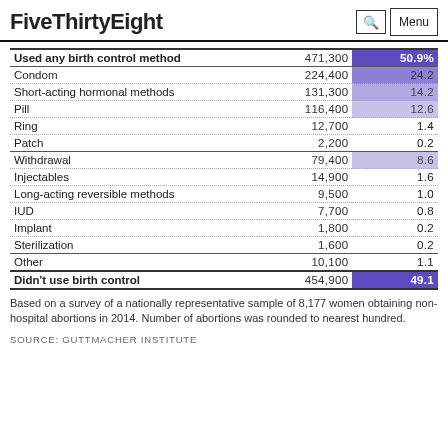FiveThirtyEight
| Method | Number | Percent |
| --- | --- | --- |
| Used any birth control method | 471,300 | 50.9% |
| Condom | 224,400 | 24.2 |
| Short-acting hormonal methods | 131,300 | 14.2 |
| Pill | 116,400 | 12.6 |
| Ring | 12,700 | 1.4 |
| Patch | 2,200 | 0.2 |
| Withdrawal | 79,400 | 8.6 |
| Injectables | 14,900 | 1.6 |
| Long-acting reversible methods | 9,500 | 1.0 |
| IUD | 7,700 | 0.8 |
| Implant | 1,800 | 0.2 |
| Sterilization | 1,600 | 0.2 |
| Other | 10,100 | 1.1 |
| Didn't use birth control | 454,900 | 49.1 |
Based on a survey of a nationally representative sample of 8,177 women obtaining non-hospital abortions in 2014. Number of abortions was rounded to nearest hundred.
SOURCE: GUTTMACHER INSTITUTE